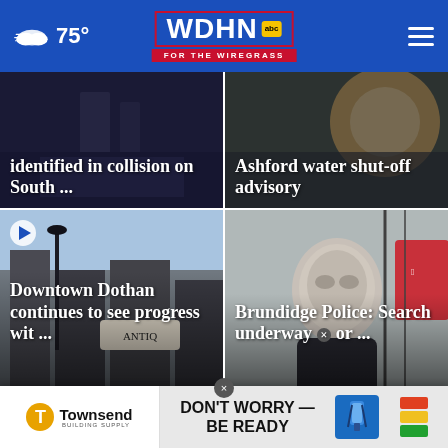75° WDHN abc FOR THE WIREGRASS
identified in collision on South ...
Ashford water shut-off advisory
[Figure (photo): Downtown Dothan street scene with antique shop sign]
Downtown Dothan continues to see progress wit ...
[Figure (photo): Masked suspect photo from security camera]
Brundidge Police: Search underway for ...
[Figure (photo): Advertisement banner: Townsend Building Supply - Don't Worry Be Ready]